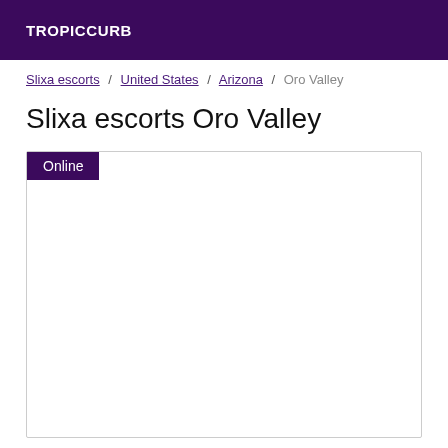TROPICCURB
Slixa escorts / United States / Arizona / Oro Valley
Slixa escorts Oro Valley
Online